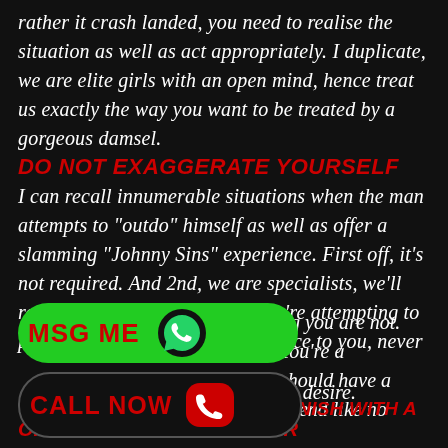rather it crash landed, you need to realise the situation as well as act appropriately. I duplicate, we are elite girls with an open mind, hence treat us exactly the way you want to be treated by a gorgeous damsel.
DO NOT EXAGGERATE YOURSELF
I can recall innumerable situations when the man attempts to "outdo" himself as well as offer a slamming "Johnny Sins" experience. First off, it's not required. And 2nd, we are specialists, we'll recognize immediately when you're attempting to phony something.So, it is my advice to you, never
[Figure (infographic): Green rounded 'MSG ME' button with WhatsApp icon]
ng you are not. You're a
should have a friend like no
[Figure (infographic): Black rounded 'CALL NOW' button with red phone icon]
ve desire.
FINISH WITH A WARM HUG
OR WELCOME THE POINTER